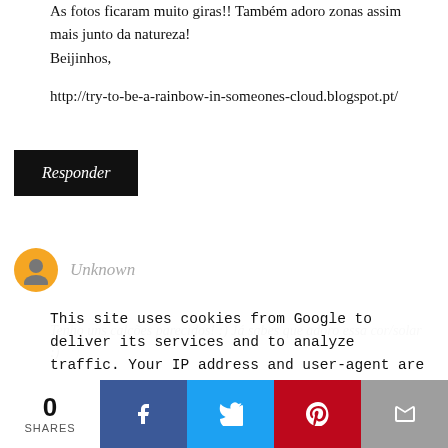As fotos ficaram muito giras!! Também adoro zonas assim mais junto da natureza!
Bejinhos,
http://try-to-be-a-rainbow-in-someones-cloud.blogspot.pt/
Responder
Unknown
This site uses cookies from Google to deliver its services and to analyze traffic. Your IP address and user-agent are shared with Google along with performance and security metrics to ensure quality of service, generate usage statistics, and to detect and address abuse.
Tenho uns calções parecidos! :) Já sabes que adoro essa cor/solar :)
xx, Edna
Mercury Rose
0 SHARES